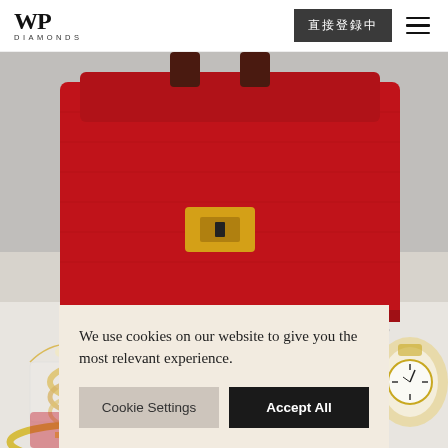[Figure (logo): WP Diamonds logo — stylized WP monogram above the word DIAMONDS in spaced capitals]
[Figure (other): Dark grey pill/rectangle button with Japanese or Chinese characters, in the header navigation area]
[Figure (other): Hamburger menu icon (three horizontal lines) in the header navigation area]
[Figure (photo): Hero product photo: red lizard-skin Hermès Kelly mini handbag with gold hardware, surrounded by gold jewelry items (bracelets, bangles, necklace, watch) on a light background]
We use cookies on our website to give you the most relevant experience.
Cookie Settings
Accept All